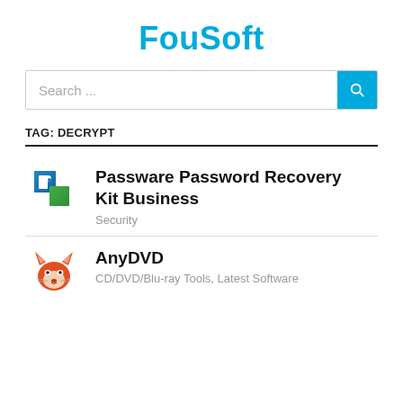FouSoft
[Figure (other): Search bar with text 'Search ...' and a cyan search button icon on the right]
TAG: DECRYPT
Passware Password Recovery Kit Business — Security
AnyDVD — CD/DVD/Blu-ray Tools, Latest Software